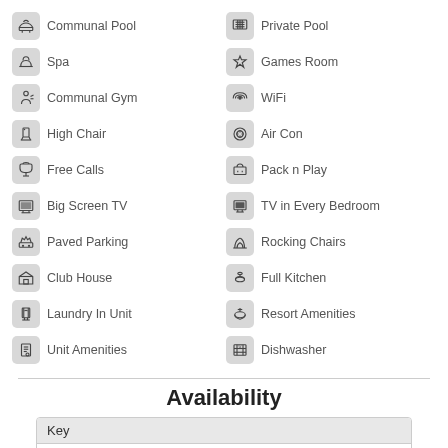Communal Pool
Private Pool
Spa
Games Room
Communal Gym
WiFi
High Chair
Air Con
Free Calls
Pack n Play
Big Screen TV
TV in Every Bedroom
Paved Parking
Rocking Chairs
Club House
Full Kitchen
Laundry In Unit
Resort Amenities
Unit Amenities
Dishwasher
Availability
| Key |
| --- |
| Reserved |
| Guests arriving (you can depart that day) |
| Guests departing (you can arrive that day) |